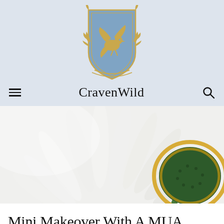[Figure (logo): CravenWild heraldic crest logo — a blue shield with a golden pegasus/bird figure, flanked by golden decorative foliage, on a light blue-grey background]
CravenWild
[Figure (photo): Close-up photograph of a white daisy flower with a green and yellow centre, shot from below against a white background]
Mini Makeover With A MUA Makeup Academy Haul